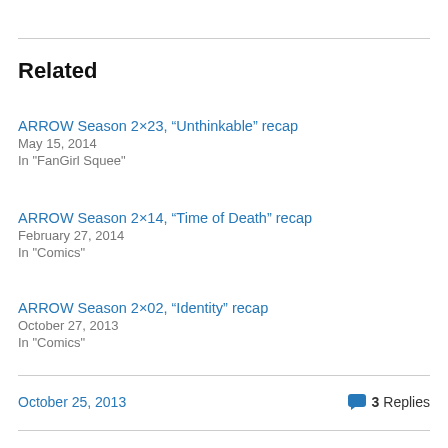Related
ARROW Season 2×23, “Unthinkable” recap
May 15, 2014
In "FanGirl Squee"
ARROW Season 2×14, “Time of Death” recap
February 27, 2014
In "Comics"
ARROW Season 2×02, “Identity” recap
October 27, 2013
In "Comics"
October 25, 2013
3 Replies